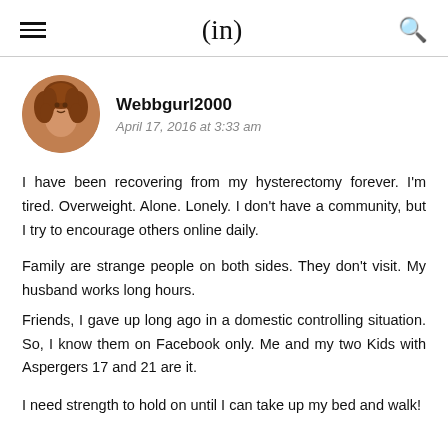(in)
[Figure (photo): Circular avatar photo of a woman with curly reddish-brown hair]
Webbgurl2000
April 17, 2016 at 3:33 am
I have been recovering from my hysterectomy forever. I'm tired. Overweight. Alone. Lonely. I don't have a community, but I try to encourage others online daily.
Family are strange people on both sides. They don't visit. My husband works long hours.
Friends, I gave up long ago in a domestic controlling situation. So, I know them on Facebook only. Me and my two Kids with Aspergers 17 and 21 are it.

I need strength to hold on until I can take up my bed and walk!